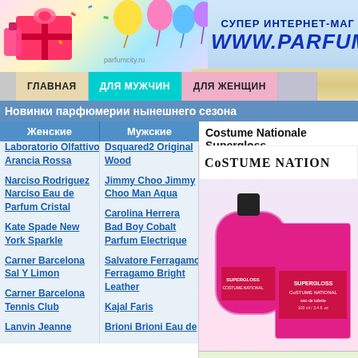СУПЕР ИНТЕРНЕТ-МАГ... WWW.PARFUMCH...
Новинки парфюмерии нынешнего сезона
Женские: Laboratorio Olfattivo Arancia Rossa
Narciso Rodriguez Narciso Eau de Parfum Cristal
Kate Spade New York Sparkle
Carner Barcelona Sal Y Limon
Carner Barcelona Tennis Club
Lanvin Jeanne
Мужские: Dsquared2 Original Wood
Jimmy Choo Jimmy Choo Man Aqua
Carolina Herrera Bad Boy Cobalt Parfum Electrique
Salvatore Ferragamo Ferragamo Bright Leather
Kajal Faris
Brioni Brioni Eau de...
Costume Nationale Supergloss
[Figure (photo): Costume Nationale Supergloss perfume bottle (magenta/pink) and box]
| Product | Price | Action |
| --- | --- | --- |
| Supergloss туалетные духи 1.5ml min | 468 руб. | к... |